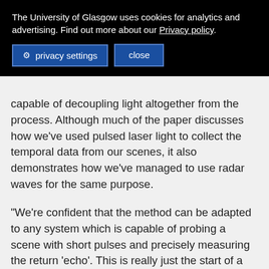The University of Glasgow uses cookies for analytics and advertising. Find out more about our Privacy policy.
privacy settings   close
capable of decoupling light altogether from the process. Although much of the paper discusses how we've used pulsed laser light to collect the temporal data from our scenes, it also demonstrates how we've managed to use radar waves for the same purpose.
“We’re confident that the method can be adapted to any system which is capable of probing a scene with short pulses and precisely measuring the return ‘echo’. This is really just the start of a whole new way of visualising the world using time instead of light.”